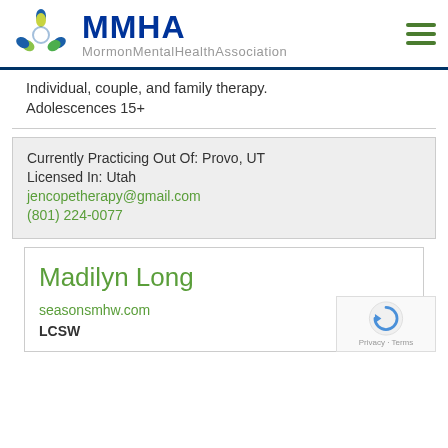[Figure (logo): MMHA Mormon Mental Health Association logo with colorful human figures and blue/green text]
Individual, couple, and family therapy.
Adolescences 15+
Currently Practicing Out Of: Provo, UT
Licensed In: Utah
jencopetherapy@gmail.com
(801) 224-0077
Madilyn Long
seasonsmhw.com
LCSW